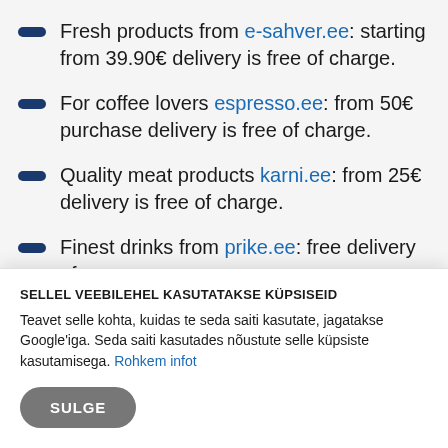Fresh products from e-sahver.ee: starting from 39.90€ delivery is free of charge.
For coffee lovers espresso.ee: from 50€ purchase delivery is free of charge.
Quality meat products karni.ee: from 25€ delivery is free of charge.
Finest drinks from prike.ee: free delivery of
SELLEL VEEBILEHEL KASUTATAKSE KÜPSISEID
Teavet selle kohta, kuidas te seda saiti kasutate, jagatakse Google'iga. Seda saiti kasutades nõustute selle küpsiste kasutamisega. Rohkem infot